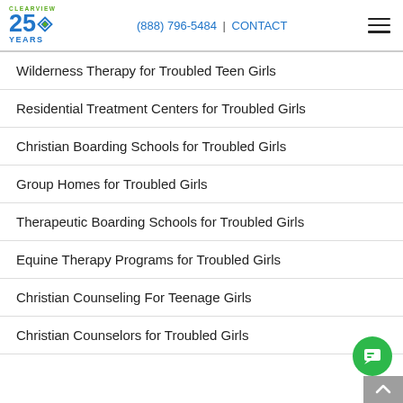CLEARVIEW 25 YEARS | (888) 796-5484 | CONTACT
Wilderness Therapy for Troubled Teen Girls
Residential Treatment Centers for Troubled Girls
Christian Boarding Schools for Troubled Girls
Group Homes for Troubled Girls
Therapeutic Boarding Schools for Troubled Girls
Equine Therapy Programs for Troubled Girls
Christian Counseling For Teenage Girls
Christian Counselors for Troubled Girls